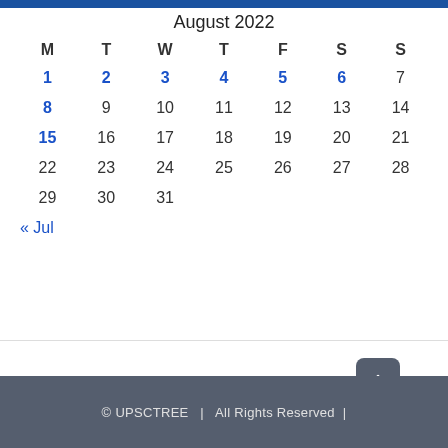August 2022
| M | T | W | T | F | S | S |
| --- | --- | --- | --- | --- | --- | --- |
| 1 | 2 | 3 | 4 | 5 | 6 | 7 |
| 8 | 9 | 10 | 11 | 12 | 13 | 14 |
| 15 | 16 | 17 | 18 | 19 | 20 | 21 |
| 22 | 23 | 24 | 25 | 26 | 27 | 28 |
| 29 | 30 | 31 |  |  |  |  |
« Jul
© UPSCTREE  |  All Rights Reserved  |